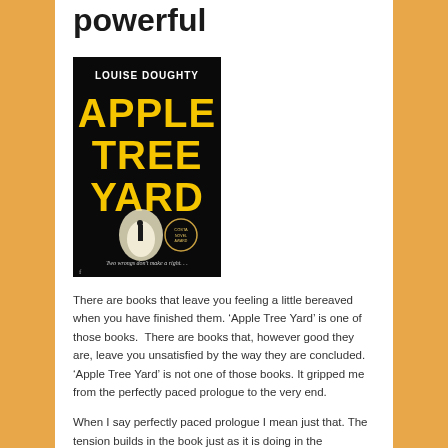powerful
[Figure (photo): Book cover of 'Apple Tree Yard' by Louise Doughty. Black background with large yellow text reading 'APPLE TREE YARD'. A figure stands in a lit tunnel. Tagline: 'Two wrongs don't make a right...']
There are books that leave you feeling a little bereaved when you have finished them. ‘Apple Tree Yard’ is one of those books.  There are books that, however good they are, leave you unsatisfied by the way they are concluded. ‘Apple Tree Yard’ is not one of those books. It gripped me from the perfectly paced prologue to the very end.
When I say perfectly paced prologue I mean just that. The tension builds in the book just as it is doing in the courtroom. We follow the line of questioning without